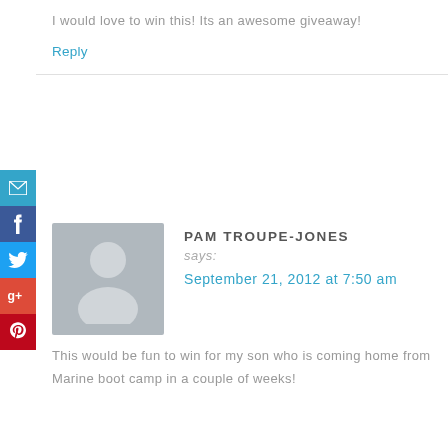I would love to win this! Its an awesome giveaway!
Reply
PAM TROUPE-JONES says: September 21, 2012 at 7:50 am
This would be fun to win for my son who is coming home from Marine boot camp in a couple of weeks!